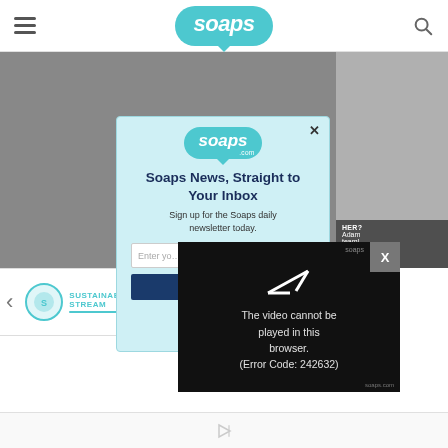soaps (website header with hamburger menu and search icon)
[Figure (screenshot): Gray placeholder main image area for a soaps.com article]
[Figure (screenshot): Soaps.com newsletter signup popup: 'Soaps News, Straight to Your Inbox. Sign up for the Soaps daily newsletter today.' with email input and button]
[Figure (screenshot): Video player overlay showing error: 'The video cannot be played in this browser. (Error Code: 242632)']
[Figure (screenshot): Carousel strip with Sustainable Stream logo, left arrow, and right-side thumbnails including Adam/red-haired woman]
[Figure (screenshot): Ad bar at bottom with play/ad icon]